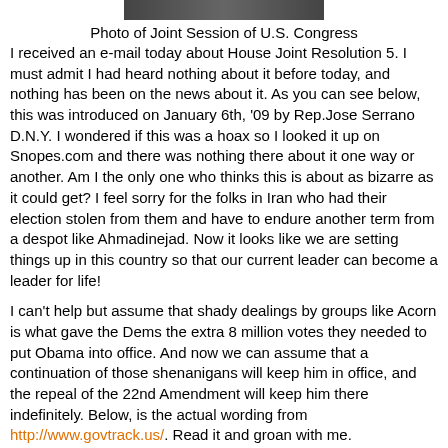[Figure (photo): Partial photo of Joint Session of U.S. Congress at top of page]
Photo of Joint Session of U.S. Congress
I received an e-mail today about House Joint Resolution 5. I must admit I had heard nothing about it before today, and nothing has been on the news about it. As you can see below, this was introduced on January 6th, '09 by Rep.Jose Serrano D.N.Y. I wondered if this was a hoax so I looked it up on Snopes.com and there was nothing there about it one way or another. Am I the only one who thinks this is about as bizarre as it could get? I feel sorry for the folks in Iran who had their election stolen from them and have to endure another term from a despot like Ahmadinejad. Now it looks like we are setting things up in this country so that our current leader can become a leader for life!
I can't help but assume that shady dealings by groups like Acorn is what gave the Dems the extra 8 million votes they needed to put Obama into office. And now we can assume that a continuation of those shenanigans will keep him in office, and the repeal of the 22nd Amendment will keep him there indefinitely. Below, is the actual wording from http://www.govtrack.us/. Read it and groan with me.